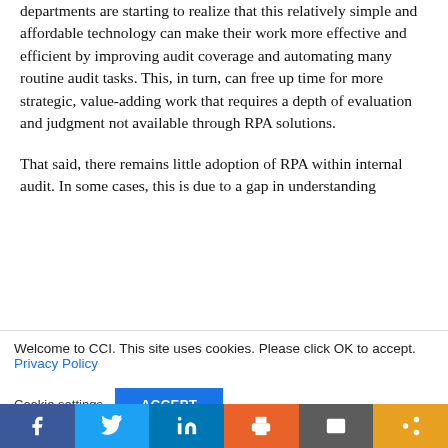departments are starting to realize that this relatively simple and affordable technology can make their work more effective and efficient by improving audit coverage and automating many routine audit tasks. This, in turn, can free up time for more strategic, value-adding work that requires a depth of evaluation and judgment not available through RPA solutions.
That said, there remains little adoption of RPA within internal audit. In some cases, this is due to a gap in understanding
Welcome to CCI. This site uses cookies. Please click OK to accept. Privacy Policy
Cookie settings  ACCEPT